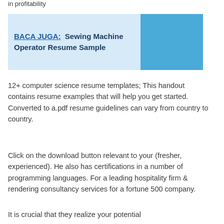in profitability
BACA JUGA:  Sewing Machine Operator Resume Sample
12+ computer science resume templates; This handout contains resume examples that will help you get started. Converted to a.pdf resume guidelines can vary from country to country.
Click on the download button relevant to your (fresher, experienced). He also has certifications in a number of programming languages. For a leading hospitality firm & rendering consultancy services for a fortune 500 company.
It is crucial that they realize your potential